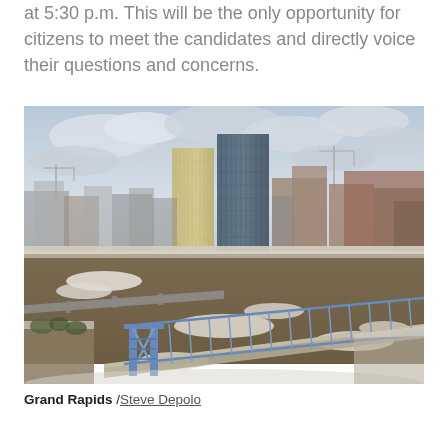at 5:30 p.m. This will be the only opportunity for citizens to meet the candidates and directly voice their questions and concerns.
[Figure (photo): Aerial winter view of Grand Rapids, Michigan showing the Grand River with a blue pedestrian bridge in the foreground, snow-covered banks, and downtown skyscrapers including two prominent glass towers in the background under a cloudy sky.]
Grand Rapids /Steve Depolo